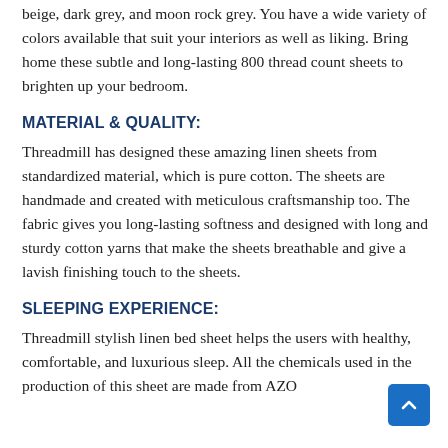beige, dark grey, and moon rock grey. You have a wide variety of colors available that suit your interiors as well as liking. Bring home these subtle and long-lasting 800 thread count sheets to brighten up your bedroom.
MATERIAL & QUALITY:
Threadmill has designed these amazing linen sheets from standardized material, which is pure cotton. The sheets are handmade and created with meticulous craftsmanship too. The fabric gives you long-lasting softness and designed with long and sturdy cotton yarns that make the sheets breathable and give a lavish finishing touch to the sheets.
SLEEPING EXPERIENCE:
Threadmill stylish linen bed sheet helps the users with healthy, comfortable, and luxurious sleep. All the chemicals used in the production of this sheet are made from AZO...